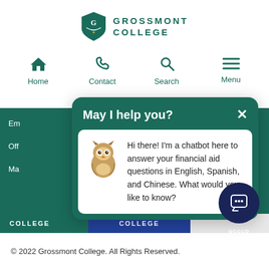[Figure (screenshot): Grossmont College website screenshot showing navigation bar with Home, Contact, Search, Menu icons, a teal chatbot popup titled 'May I help you?' with an owl mascot image and message about financial aid chatbot in English, Spanish, and Chinese, plus GCCCD chat button, college footer bar, and copyright footer.]
© 2022 Grossmont College. All Rights Reserved.